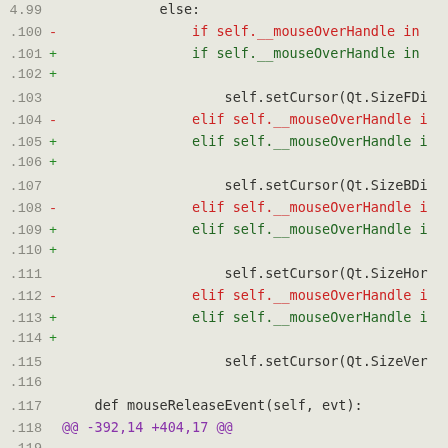[Figure (screenshot): Code diff view showing Python source code with line numbers, diff markers (+/-), and syntax-highlighted lines in a monospace font on a light gray background. Lines 4.99 through .119 are visible, showing mouse event handling code with setCursor calls and a mouseReleaseEvent function definition, along with a diff hunk header at line .118.]